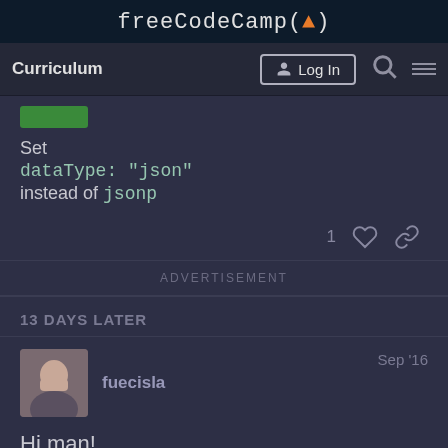freeCodeCamp(🔥)
Curriculum | Log In
Set
dataType: "json"
instead of jsonp
1 ♡ 🔗
ADVERTISEMENT
13 DAYS LATER
fuecisla   Sep '16
Hi man!